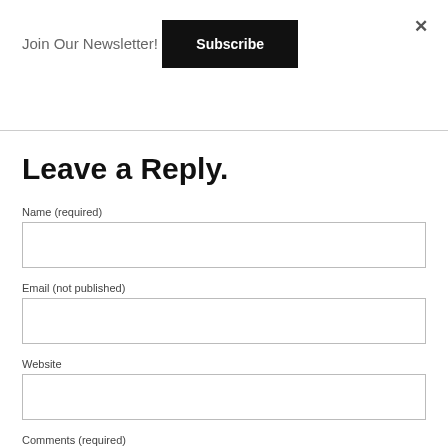Join Our Newsletter!
Subscribe
Leave a Reply.
Name (required)
Email (not published)
Website
Comments (required)